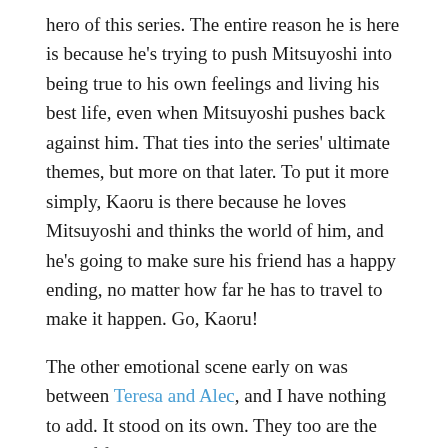hero of this series. The entire reason he is here is because he's trying to push Mitsuyoshi into being true to his own feelings and living his best life, even when Mitsuyoshi pushes back against him. That ties into the series' ultimate themes, but more on that later. To put it more simply, Kaoru is there because he loves Mitsuyoshi and thinks the world of him, and he's going to make sure his friend has a happy ending, no matter how far he has to travel to make it happen. Go, Kaoru!
The other emotional scene early on was between Teresa and Alec, and I have nothing to add. It stood on its own. They too are the best of friends, and they're lucky to have each other. I'm so happy that there was never any drama between them, despite the way their loves/relationships overlapped.
Rachel is the other hidden MVP, and not just because she's secretly the author of Sunflower Express. Her determination to push Teresa into a position where she too can be true to herself means she functions in a similar vein to Kaoru, but with less proximity (and